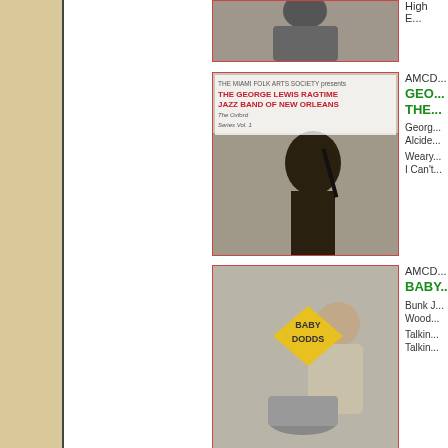[Figure (photo): Album cover partially visible at top — cropped figure]
High E...
[Figure (photo): Album cover: THE MIAMI FOLK ARTS SOCIETY presents THE GEORGE LEWIS RAGTIME JAZZ BAND OF NEW ORLEANS, The Oxford Series Vol. 1. Black and white photo of musician playing clarinet on a street.]
AMCD...
GEORGE LEWIS / THE...
George...
Alcide...
Weary...
I Can't...
[Figure (photo): Album cover: BABY DODDS. Yellow diamond shape with text on a grey background with a man in a suit sitting next to drums.]
AMCD...
BABY DODDS
Bunk J...
Wood...
Talkin...
Talkin...
[Figure (photo): Album cover partially visible at bottom — BUNK JOHNSON with yellow star/badge graphic]
AMCD...
BUNK...
FRAN...